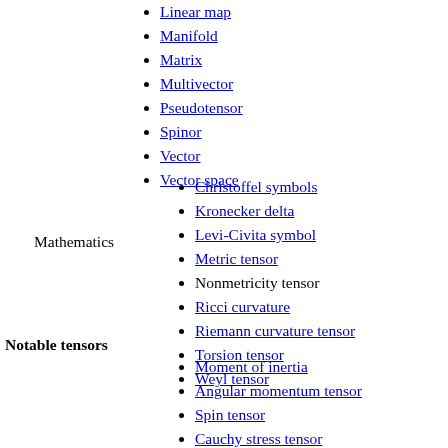Linear map
Manifold
Matrix
Multivector
Pseudotensor
Spinor
Vector
Vector space
Christoffel symbols
Kronecker delta
Levi-Civita symbol
Metric tensor
Nonmetricity tensor
Ricci curvature
Riemann curvature tensor
Torsion tensor
Weyl tensor
Mathematics
Notable tensors
Moment of inertia
Angular momentum tensor
Spin tensor
Cauchy stress tensor
stress–energy tensor
Einstein tensor
EM tensor
Physics